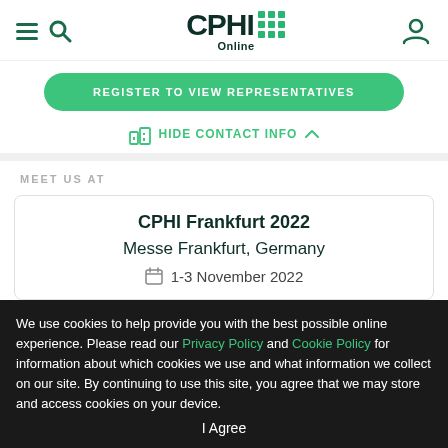CPHI Online
REGISTER TO VIEW REPRESENTATIVES
HIDE CONTACT INFO
MEET US AT
CPHI Frankfurt 2022
Messe Frankfurt, Germany
1-3 November 2022
We use cookies to help provide you with the best possible online experience. Please read our Privacy Policy and Cookie Policy for information about which cookies we use and what information we collect on our site. By continuing to use this site, you agree that we may store and access cookies on your device.
I Agree